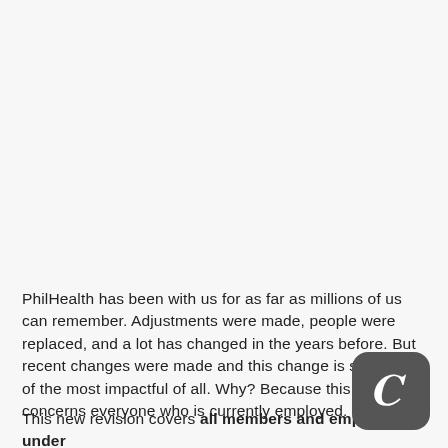PhilHealth has been with us for as far as millions of us can remember. Adjustments were made, people were replaced, and a lot has changed in the years before. But recent changes were made and this change is so far one of the most impactful of all. Why? Because this change concerns everyone who is currently employed.
This new revision covers all members and employers under